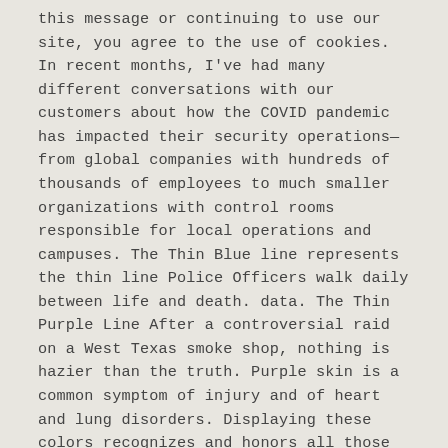this message or continuing to use our site, you agree to the use of cookies. In recent months, I've had many different conversations with our customers about how the COVID pandemic has impacted their security operations—from global companies with hundreds of thousands of employees to much smaller organizations with control rooms responsible for local operations and campuses. The Thin Blue line represents the thin line Police Officers walk daily between life and death. data. The Thin Purple Line After a controversial raid on a West Texas smoke shop, nothing is hazier than the truth. Purple skin is a common symptom of injury and of heart and lung disorders. Displaying these colors recognizes and honors all those who serve others and have given their lives to protect ours. … · While there are varied meanings and interpretations of the color purple, this color combines the calm stability of blue and the fierce energy of red. The gold and yellow lines have been used interchangeably, but more recently, the distinction has been acknowledged. The Thin Purple (Violet) Line is for persons who died or suffered great injury while in political office due to